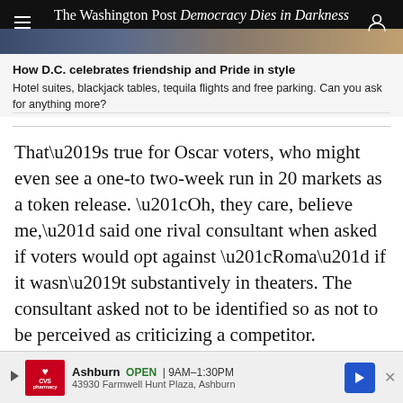The Washington Post
Democracy Dies in Darkness
How D.C. celebrates friendship and Pride in style
Hotel suites, blackjack tables, tequila flights and free parking. Can you ask for anything more?
That’s true for Oscar voters, who might even see a one-to two-week run in 20 markets as a token release. “Oh, they care, believe me,” said one rival consultant when asked if voters would opt against “Roma” if it wasn’t substantively in theaters. The consultant asked not to be identified so as not to be perceived as criticizing a competitor.
[Figure (other): CVS Pharmacy advertisement banner: Ashburn OPEN 9AM-1:30PM, 43930 Farmwell Hunt Plaza, Ashburn]